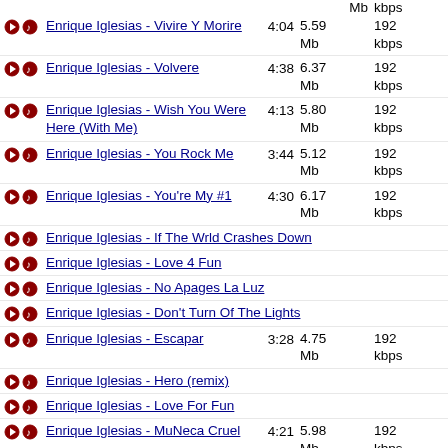Enrique Iglesias - Vivire Y Morire | 4:04 | 5.59 Mb | 192 kbps
Enrique Iglesias - Volvere | 4:38 | 6.37 Mb | 192 kbps
Enrique Iglesias - Wish You Were Here (With Me) | 4:13 | 5.80 Mb | 192 kbps
Enrique Iglesias - You Rock Me | 3:44 | 5.12 Mb | 192 kbps
Enrique Iglesias - You're My #1 | 4:30 | 6.17 Mb | 192 kbps
Enrique Iglesias - If The Wrld Crashes Down
Enrique Iglesias - Love 4 Fun
Enrique Iglesias - No Apages La Luz
Enrique Iglesias - Don't Turn Of The Lights
Enrique Iglesias - Escapar | 3:28 | 4.75 Mb | 192 kbps
Enrique Iglesias - Hero (remix)
Enrique Iglesias - Love For Fun
Enrique Iglesias - MuNeca Cruel | 4:21 | 5.98 Mb | 192 kbps
Enrique Iglesias - No Apagues La Luz